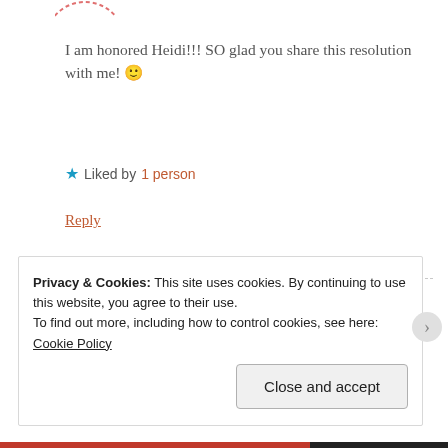[Figure (illustration): Partial dashed circle arc at top, cropped avatar outline in coral/pink dashed border]
I am honored Heidi!!! SO glad you share this resolution with me! 🙂
★ Liked by 1 person
Reply
[Figure (photo): Circular avatar photo of two people (a woman and a man) in a dashed circle border]
heididwhite
DECEMBER 31, 2014 AT 3:01 PM
Privacy & Cookies: This site uses cookies. By continuing to use this website, you agree to their use.
To find out more, including how to control cookies, see here: Cookie Policy
Close and accept